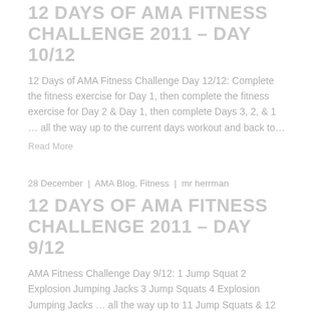12 DAYS OF AMA FITNESS CHALLENGE 2011 – DAY 10/12
12 Days of AMA Fitness Challenge Day 12/12: Complete the fitness exercise for Day 1, then complete the fitness exercise for Day 2 & Day 1, then complete Days 3, 2, & 1 … all the way up to the current days workout and back to…
Read More
28 December | AMA Blog, Fitness | mr herrman
12 DAYS OF AMA FITNESS CHALLENGE 2011 – DAY 9/12
AMA Fitness Challenge Day 9/12: 1 Jump Squat 2 Explosion Jumping Jacks 3 Jump Squats 4 Explosion Jumping Jacks … all the way up to 11 Jump Squats & 12 Explosion Jumping Jacks 🙂 Jump Squat = Descend just like a regular squat, at the bottom…